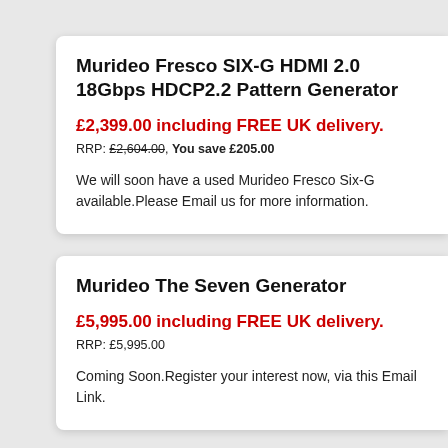Murideo Fresco SIX-G HDMI 2.0 18Gbps HDCP2.2 Pattern Generator
£2,399.00 including FREE UK delivery.
RRP: £2,604.00, You save £205.00
We will soon have a used Murideo Fresco Six-G available.Please Email us for more information.
Murideo The Seven Generator
£5,995.00 including FREE UK delivery.
RRP: £5,995.00
Coming Soon.Register your interest now, via this Email Link.